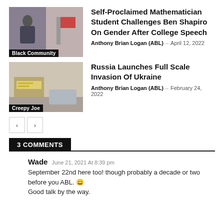[Figure (photo): Thumbnail image of a person speaking, labeled 'Black Community']
Self-Proclaimed Mathematician Student Challenges Ben Shapiro On Gender After College Speech
Anthony Brian Logan (ABL) – April 12, 2022
[Figure (photo): Thumbnail image of a street scene, labeled 'Creepy Joe']
Russia Launches Full Scale Invasion Of Ukraine
Anthony Brian Logan (ABL) – February 24, 2022
< >
3 COMMENTS
Wade June 21, 2021 At 8:39 pm
September 22nd here too! though probably a decade or two before you ABL. 😀
Good talk by the way.